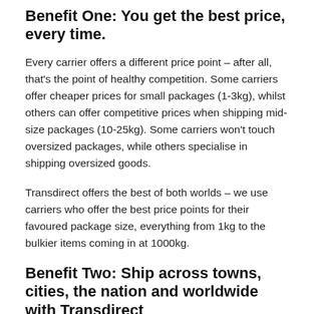Benefit One: You get the best price, every time.
Every carrier offers a different price point – after all, that's the point of healthy competition. Some carriers offer cheaper prices for small packages (1-3kg), whilst others can offer competitive prices when shipping mid-size packages (10-25kg). Some carriers won't touch oversized packages, while others specialise in shipping oversized goods.
Transdirect offers the best of both worlds – we use carriers who offer the best price points for their favoured package size, everything from 1kg to the bulkier items coming in at 1000kg.
Benefit Two: Ship across towns, cities, the nation and worldwide with Transdirect